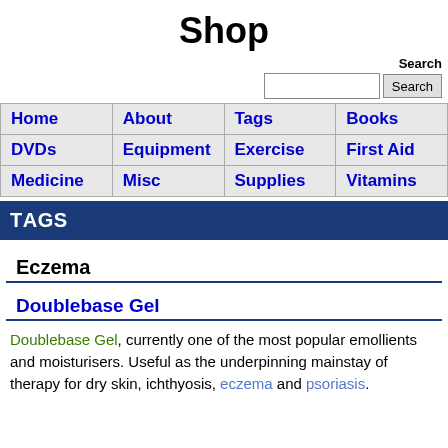Shop
| Home | About | Tags | Books |
| --- | --- | --- | --- |
| DVDs | Equipment | Exercise | First Aid |
| Medicine | Misc | Supplies | Vitamins |
Tags
Eczema
Doublebase Gel
Doublebase Gel, currently one of the most popular emollients and moisturisers. Useful as the underpinning mainstay of therapy for dry skin, ichthyosis, eczema and psoriasis.